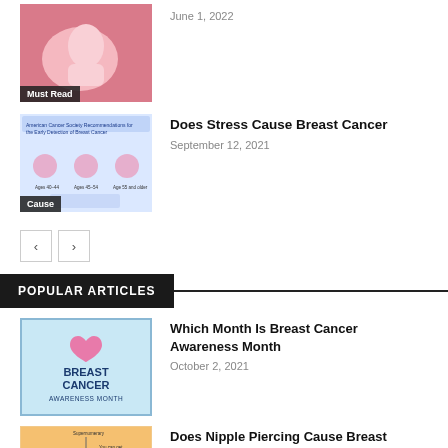[Figure (photo): Pink baby/hand image with 'Must Read' badge]
June 1, 2022
[Figure (infographic): American Cancer Society breast cancer screening infographic with 'Cause' badge]
Does Stress Cause Breast Cancer
September 12, 2021
POPULAR ARTICLES
[Figure (photo): Breast Cancer Awareness Month graphic with pink ribbon]
Which Month Is Breast Cancer Awareness Month
October 2, 2021
[Figure (illustration): Nipple piercing diagram/illustration]
Does Nipple Piercing Cause Breast